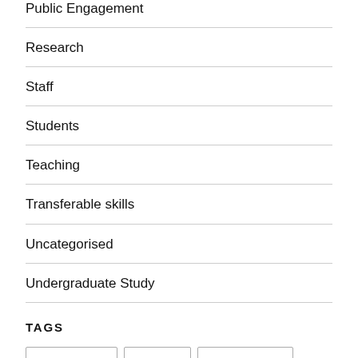Public Engagement
Research
Staff
Students
Teaching
Transferable skills
Uncategorised
Undergraduate Study
TAGS
Admissions
Alumni
Astrobiology
Astronomy…
Basi…